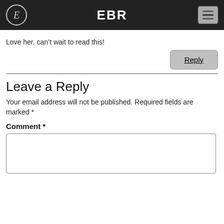EBR
Love her, can't wait to read this!
Reply
Leave a Reply
Your email address will not be published. Required fields are marked *
Comment *